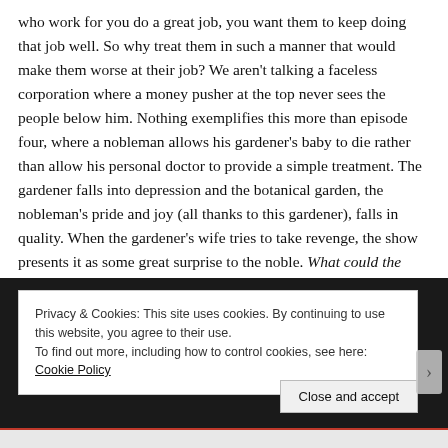who work for you do a great job, you want them to keep doing that job well. So why treat them in such a manner that would make them worse at their job? We aren't talking a faceless corporation where a money pusher at the top never sees the people below him. Nothing exemplifies this more than episode four, where a nobleman allows his gardener's baby to die rather than allow his personal doctor to provide a simple treatment. The gardener falls into depression and the botanical garden, the nobleman's pride and joy (all thanks to this gardener), falls in quality. When the gardener's wife tries to take revenge, the show presents it as some great surprise to the noble. What could the motivation possibly be?
[Figure (screenshot): Cookie consent banner overlaid on a dark background image. Banner reads: Privacy & Cookies: This site uses cookies. By continuing to use this website, you agree to their use. To find out more, including how to control cookies, see here: Cookie Policy. A 'Close and accept' button appears at bottom right.]